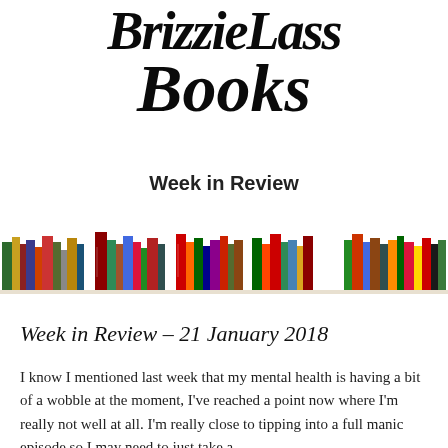BrizzieLass Books
Week in Review
[Figure (illustration): A row of colorful books of various heights arranged on a shelf, photographed against a white background. Books in multiple colors including red, orange, green, blue, black, white, and yellow.]
Week in Review - 21 January 2018
I know I mentioned last week that my mental health is having a bit of a wobble at the moment, I've reached a point now where I'm really not well at all. I'm really close to tipping into a full manic episode so I may need to just take a